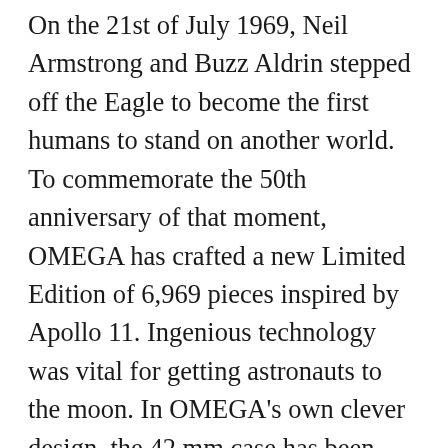On the 21st of July 1969, Neil Armstrong and Buzz Aldrin stepped off the Eagle to become the first humans to stand on another world. To commemorate the 50th anniversary of that moment, OMEGA has crafted a new Limited Edition of 6,969 pieces inspired by Apollo 11. Ingenious technology was vital for getting astronauts to the moon. In OMEGA's own clever design, the 42 mm case has been created in stainless steel, while the bezel ring is polished black ceramic [ZrO2] with an Replica OMEGA CeragoldTM tachymeter scale. Leading the way in design, the indexes, bezel, OMEGA logo and almost all of the hands have been created in 18K Moonshine Gold – a new patent-pending alloy that is a paler hue than traditional yellow gold and offers high